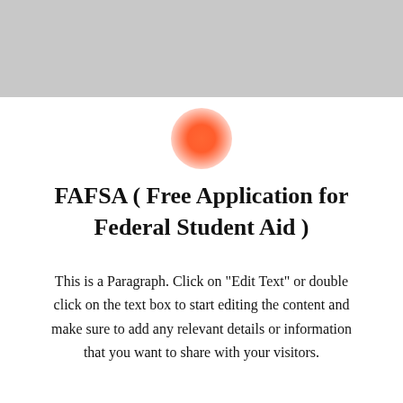[Figure (illustration): Gray rectangular banner at the top of the page]
[Figure (illustration): Orange/coral radial gradient circle icon centered below the gray banner]
FAFSA ( Free Application for Federal Student Aid )
This is a Paragraph. Click on "Edit Text" or double click on the text box to start editing the content and make sure to add any relevant details or information that you want to share with your visitors.